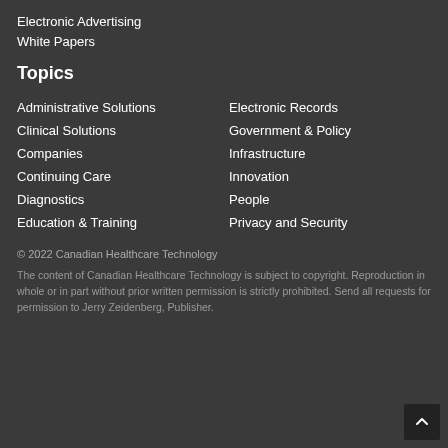Electronic Advertising
White Papers
Topics
Administrative Solutions
Electronic Records
Clinical Solutions
Government & Policy
Companies
Infrastructure
Continuing Care
Innovation
Diagnostics
People
Education & Training
Privacy and Security
© 2022 Canadian Healthcare Technology
The content of Canadian Healthcare Technology is subject to copyright. Reproduction in whole or in part without prior written permission is strictly prohibited. Send all requests for permission to Jerry Zeidenberg, Publisher.